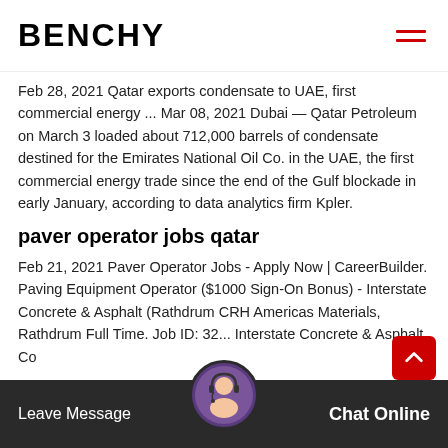BENCHY
Feb 28, 2021 Qatar exports condensate to UAE, first commercial energy ... Mar 08, 2021 Dubai — Qatar Petroleum on March 3 loaded about 712,000 barrels of condensate destined for the Emirates National Oil Co. in the UAE, the first commercial energy trade since the end of the Gulf blockade in early January, according to data analytics firm Kpler.
paver operator jobs qatar
Feb 21, 2021 Paver Operator Jobs - Apply Now | CareerBuilder. Paving Equipment Operator ($1000 Sign-On Bonus) - Interstate Concrete & Asphalt (Rathdrum CRH Americas Materials, Rathdrum Full Time. Job ID: 32... Interstate Concrete & Asphalt Co. company is a member of the CRH...
Leave Message  Chat Online